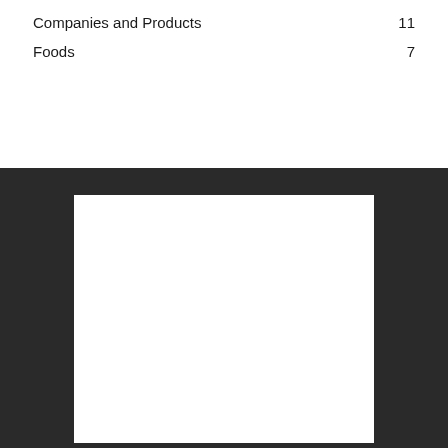Companies and Products    11
Foods    7
[Figure (other): Dark background panel with a white rectangle in the center, appearing to be a placeholder or image frame.]